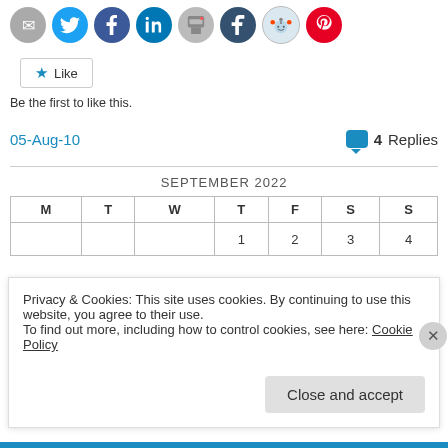[Figure (screenshot): Row of social sharing icons: email (grey), Twitter (blue), Facebook (dark blue), LinkedIn (blue), print (grey), Tumblr (dark), Reddit (light blue), Pinterest (red)]
[Figure (screenshot): Like button with star icon]
Be the first to like this.
05-Aug-10
4 Replies
| M | T | W | T | F | S | S |
| --- | --- | --- | --- | --- | --- | --- |
|  |  |  | 1 | 2 | 3 | 4 |
Privacy & Cookies: This site uses cookies. By continuing to use this website, you agree to their use.
To find out more, including how to control cookies, see here: Cookie Policy